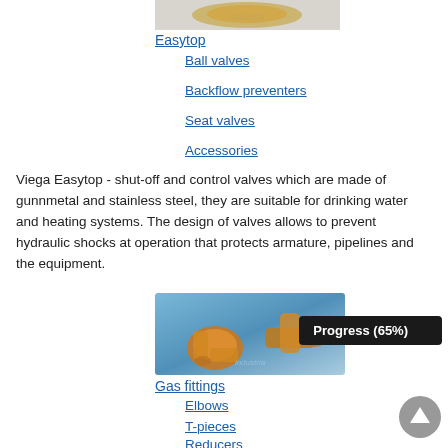[Figure (photo): Brass valve fitting product image (top portion visible)]
Easytop
Ball valves
Backflow preventers
Seat valves
Accessories
Viega Easytop - shut-off and control valves which are made of gunnmetal and stainless steel, they are suitable for drinking water and heating systems. The design of valves allows to prevent hydraulic shocks at operation that protects armature, pipelines and the equipment.
[Figure (photo): Gas fittings product image showing copper/bronze elbow and T-piece fittings on blue background]
Gas fittings
Elbows
T-pieces
Reducers
Couplings